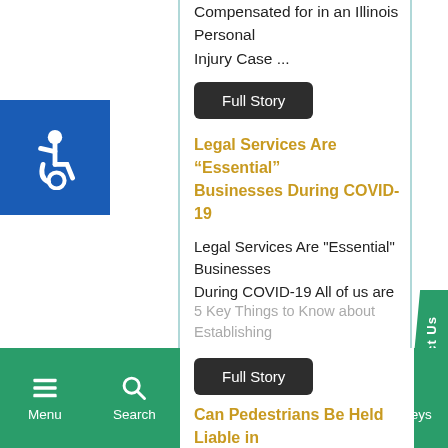Compensated for in an Illinois Personal Injury Case ...
Full Story
Legal Services Are “Essential” Businesses During COVID-19
Legal Services Are "Essential" Businesses During COVID-19 All of us are in ...
Full Story
5 Key Things to Know about Establishing Fault in Rear-End Car Accidents
5 Key Things to Know about Establishing...
Full Story
Can Pedestrians Be Held Liable in
[Figure (screenshot): Mobile website bottom navigation bar with Menu, Search, phone call button, Contact, and Attorneys icons on green background]
[Figure (illustration): Blue accessibility icon (wheelchair symbol) on left side]
[Figure (illustration): Green Contact Us tab on right side]